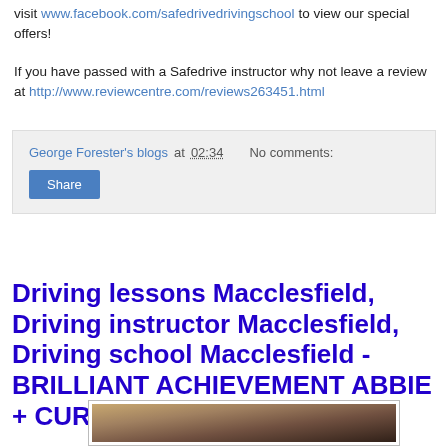visit www.facebook.com/safedrivedrivingschool to view our special offers!
If you have passed with a Safedrive instructor why not leave a review at http://www.reviewcentre.com/reviews263451.html
George Forester's blogs at 02:34    No comments:
Share
Driving lessons Macclesfield, Driving instructor Macclesfield, Driving school Macclesfield - BRILLIANT ACHIEVEMENT ABBIE + CURTIS!
[Figure (photo): Photo of two young people, a woman and a man, smiling, standing indoors]